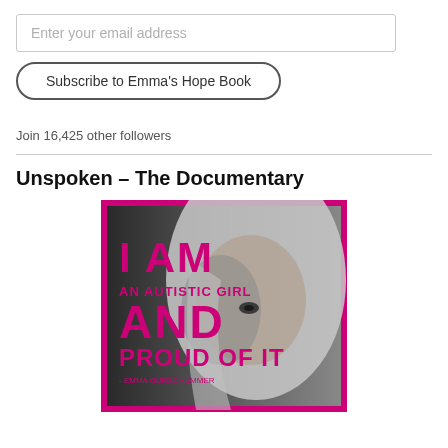Enter your email address
Subscribe to Emma's Hope Book
Join 16,425 other followers
Unspoken – The Documentary
[Figure (photo): Documentary poster for 'Unspoken' showing a black and white photo of a young blonde girl with text in magenta/pink: 'I AM AN AUTISTIC GIRL AND PROUD OF IT - Emma Gurschümmer']